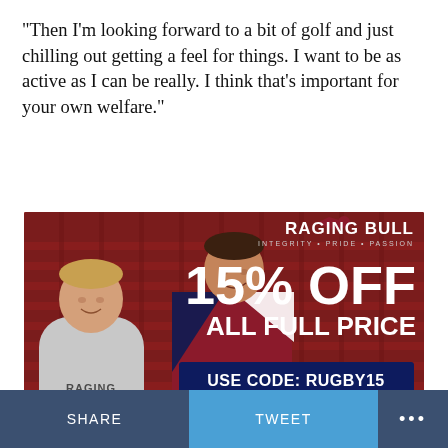“Then I’m looking forward to a bit of golf and just chilling out getting a feel for things. I want to be as active as I can be really. I think that’s important for your own welfare.”
[Figure (photo): Raging Bull clothing advertisement showing two rugby players sitting in stadium seats. Text overlay reads: RAGING BULL, INTEGRITY • PRIDE • PASSION, 15% OFF ALL FULL PRICE, USE CODE: RUGBY15 AT CHECKOUT, SHOP NOW >]
SHARE
TWEET
•••